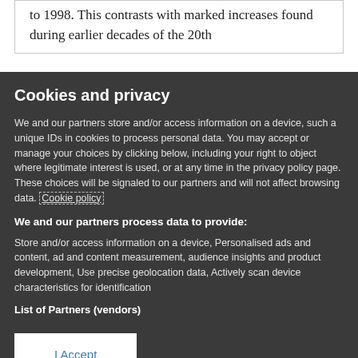to 1998. This contrasts with marked increases found during earlier decades of the 20th
Cookies and privacy
We and our partners store and/or access information on a device, such a unique IDs in cookies to process personal data. You may accept or manage your choices by clicking below, including your right to object where legitimate interest is used, or at any time in the privacy policy page. These choices will be signaled to our partners and will not affect browsing data. Cookie policy
We and our partners process data to provide:
Store and/or access information on a device, Personalised ads and content, ad and content measurement, audience insights and product development, Use precise geolocation data, Actively scan device characteristics for identification
List of Partners (vendors)
I Accept